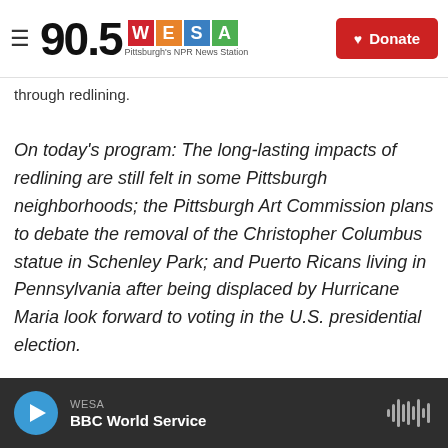90.5 WESA Pittsburgh's NPR News Station | Donate
through redlining.
On today's program: The long-lasting impacts of redlining are still felt in some Pittsburgh neighborhoods; the Pittsburgh Art Commission plans to debate the removal of the Christopher Columbus statue in Schenley Park; and Puerto Ricans living in Pennsylvania after being displaced by Hurricane Maria look forward to voting in the U.S. presidential election.
The impacts of redlining are still felt in Pittsburgh
WESA | BBC World Service